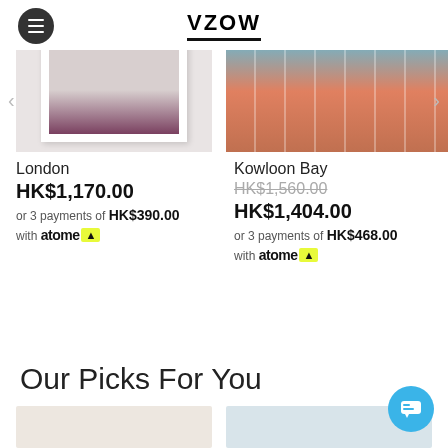VZOW
[Figure (photo): Product photo of London artwork in white frame on grey background]
[Figure (photo): Product photo of Kowloon Bay building facade with teal and orange balconies]
London
HK$1,170.00
or 3 payments of HK$390.00
with atome
Kowloon Bay
HK$1,560.00
HK$1,404.00
or 3 payments of HK$468.00
with atome
Our Picks For You
[Figure (photo): Preview thumbnail left]
[Figure (photo): Preview thumbnail right]